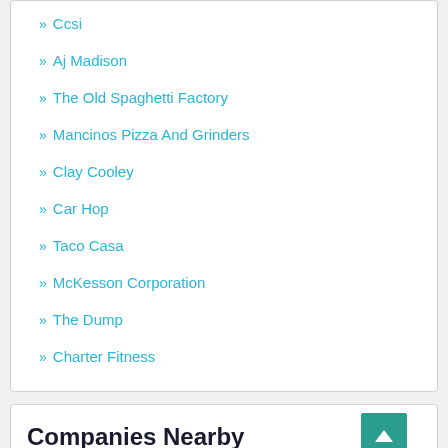Ccsi
Aj Madison
The Old Spaghetti Factory
Mancinos Pizza And Grinders
Clay Cooley
Car Hop
Taco Casa
McKesson Corporation
The Dump
Charter Fitness
Companies Nearby
Skip Biology